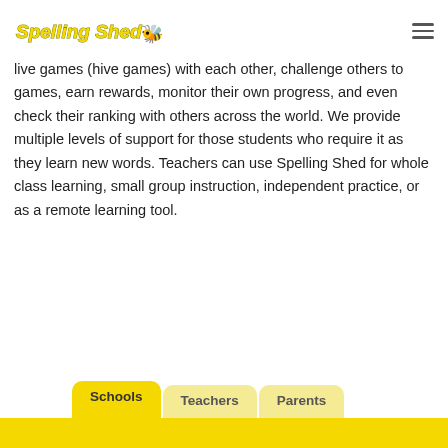Spelling Shed [logo with bee]
live games (hive games) with each other, challenge others to games, earn rewards, monitor their own progress, and even check their ranking with others across the world. We provide multiple levels of support for those students who require it as they learn new words. Teachers can use Spelling Shed for whole class learning, small group instruction, independent practice, or as a remote learning tool.
Schools
Teachers
Parents